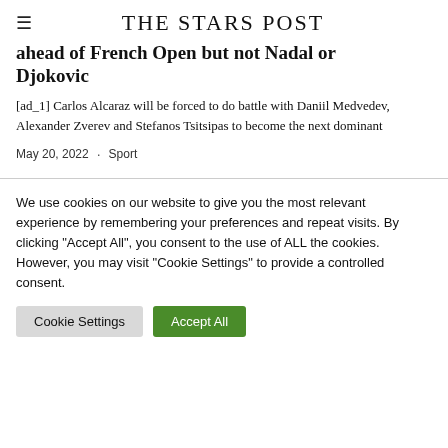THE STARS POST
ahead of French Open but not Nadal or Djokovic
[ad_1] Carlos Alcaraz will be forced to do battle with Daniil Medvedev, Alexander Zverev and Stefanos Tsitsipas to become the next dominant
May 20, 2022 · Sport
We use cookies on our website to give you the most relevant experience by remembering your preferences and repeat visits. By clicking "Accept All", you consent to the use of ALL the cookies. However, you may visit "Cookie Settings" to provide a controlled consent.